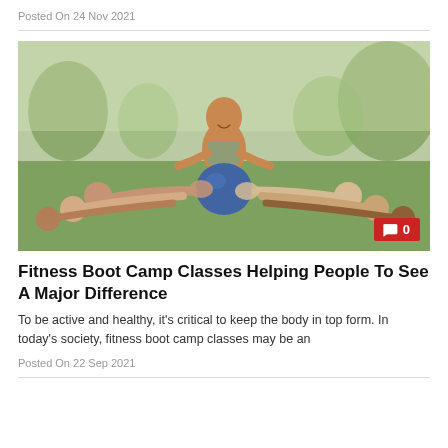Posted On 24 Nov 2021
[Figure (photo): Group fitness boot camp class outdoors in a park; several women lying on the ground reaching toward a blue medicine ball held by one person in the center, with a male trainer crouching behind them, smiling. Trees and green grass in background.]
Fitness Boot Camp Classes Helping People To See A Major Difference
To be active and healthy, it's critical to keep the body in top form. In today's society, fitness boot camp classes may be an
Posted On 22 Sep 2021